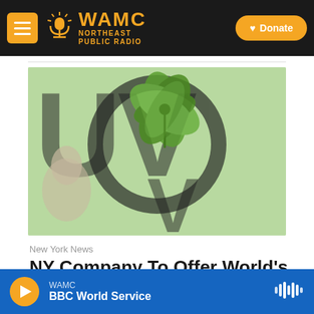WAMC Northeast Public Radio | Donate
[Figure (photo): Photo with cannabis leaf imagery overlaid on a blurred background with large stylized letters, person visible at lower left]
New York News
NY Company To Offer World's 1st Certified Kosher Pot
WAMC | BBC World Service